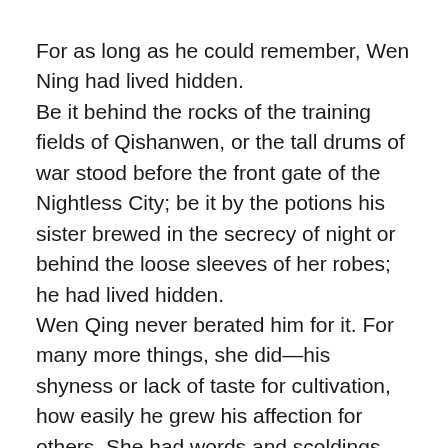For as long as he could remember, Wen Ning had lived hidden.
Be it behind the rocks of the training fields of Qishanwen, or the tall drums of war stood before the front gate of the Nightless City; be it by the potions his sister brewed in the secrecy of night or behind the loose sleeves of her robes; he had lived hidden.
Wen Qing never berated him for it. For many more things, she did—his shyness or lack of taste for cultivation, how easily he grew his affection for others. She had words and scoldings. Stand tall, Qionglin, she would say. Look me in the eyes when I speak. But for his hiding—for their hiding—she only ever said one thing.
“Good. You can never let anyone know.”